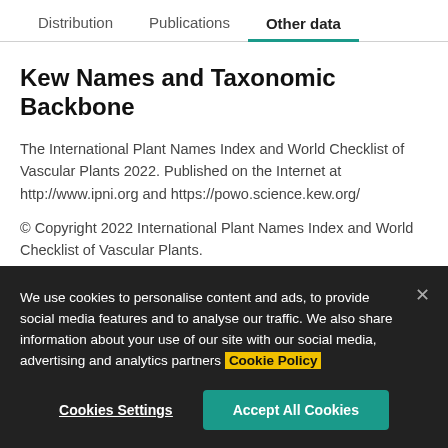Distribution | Publications | Other data
Kew Names and Taxonomic Backbone
The International Plant Names Index and World Checklist of Vascular Plants 2022. Published on the Internet at http://www.ipni.org and https://powo.science.kew.org/
© Copyright 2022 International Plant Names Index and World Checklist of Vascular Plants.
http://creativecommons.org/licenses/by/3.0
We use cookies to personalise content and ads, to provide social media features and to analyse our traffic. We also share information about your use of our site with our social media, advertising and analytics partners Cookie Policy
Cookies Settings | Accept All Cookies